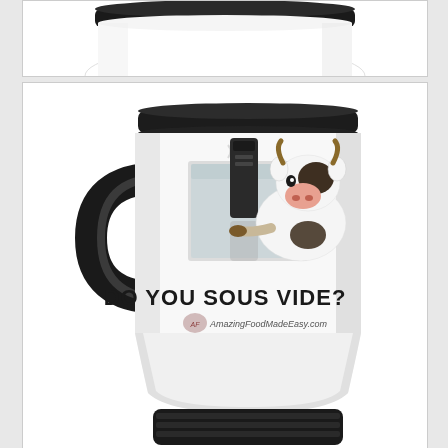[Figure (photo): Partial top view of a white travel mug showing the dark lid and rim area]
[Figure (photo): White stainless steel travel mug with black handle and lid, featuring a cartoon cow next to a sous vide immersion circulator in a water bath, with text reading 'DO YOU SOUS VIDE?' and 'AmazingFoodMadeEasy.com']